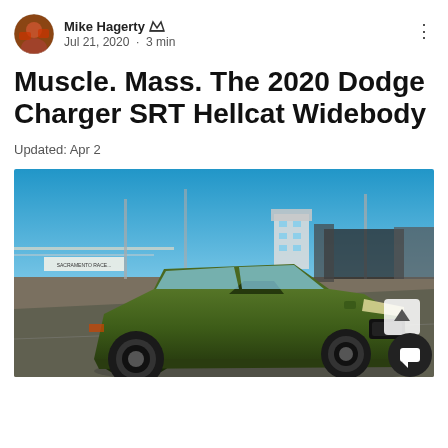Mike Hagerty · Jul 21, 2020 · 3 min
Muscle. Mass. The 2020 Dodge Charger SRT Hellcat Widebody
Updated: Apr 2
[Figure (photo): A green 2020 Dodge Charger SRT Hellcat Widebody parked on a racetrack with blue sky background and Sacramento Raceway signage visible]